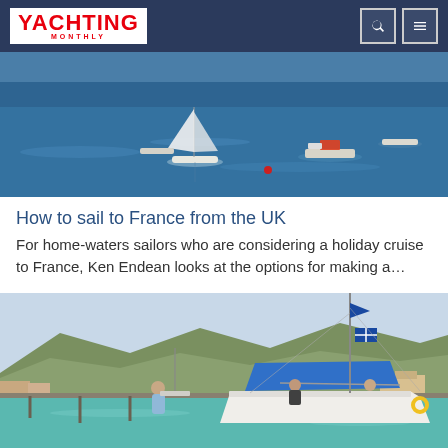Yachting Monthly
[Figure (photo): Several boats anchored on calm blue water, viewed from above or from shore. Sunny day with bright blue sea.]
How to sail to France from the UK
For home-waters sailors who are considering a holiday cruise to France, Ken Endean looks at the options for making a…
[Figure (photo): A sailboat docked in a harbour with a blue bimini top. Mountains visible in background. People on deck. Calm turquoise water.]